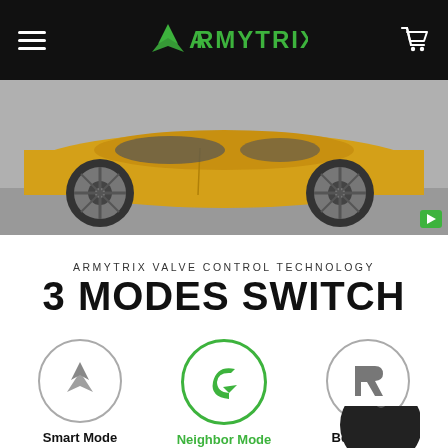[Figure (screenshot): Black navigation bar with hamburger menu on left, green ARMYTRIX logo in center, shopping cart icon on right]
[Figure (photo): Yellow sports car (side profile showing doors and two wheels) photographed from low angle on gray pavement, with small green play button in lower right corner]
ARMYTRIX VALVE CONTROL TECHNOLOGY
3 MODES SWITCH
[Figure (infographic): Three mode icons in circles: Smart Mode (grey Armytrix chevron logo, grey circle), Neighbor Mode (green C-arrow logo, green circle border, active), Beast Mode (grey RK logo, grey circle), with labels below each]
[Figure (photo): Partial view of a round black knob/switch visible at bottom right of page]